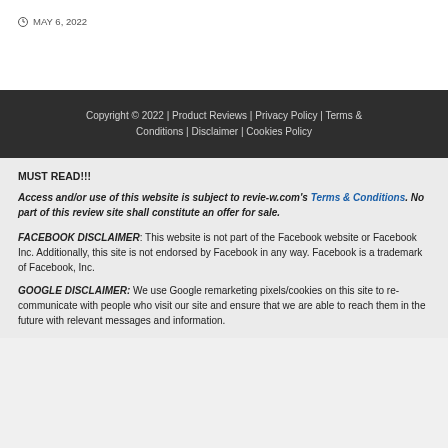MAY 6, 2022
Copyright © 2022 | Product Reviews | Privacy Policy | Terms & Conditions | Disclaimer | Cookies Policy
MUST READ!!!
Access and/or use of this website is subject to revie-w.com's Terms & Conditions. No part of this review site shall constitute an offer for sale.
FACEBOOK DISCLAIMER: This website is not part of the Facebook website or Facebook Inc. Additionally, this site is not endorsed by Facebook in any way. Facebook is a trademark of Facebook, Inc.
GOOGLE DISCLAIMER: We use Google remarketing pixels/cookies on this site to re-communicate with people who visit our site and ensure that we are able to reach them in the future with relevant messages and information.